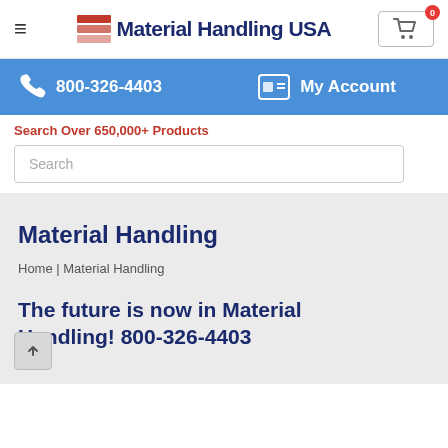Material Handling USA — 800-326-4403 | My Account
Search Over 650,000+ Products
Search
Material Handling
Home | Material Handling
The future is now in Material Handling! 800-326-4403